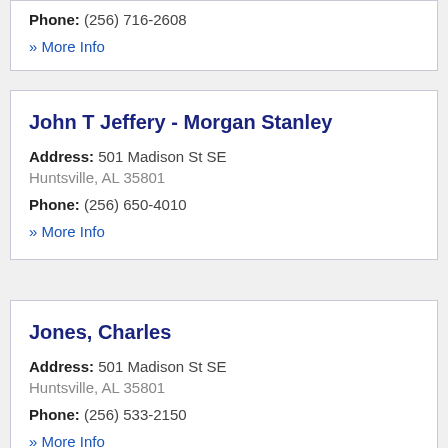Phone: (256) 716-2608
» More Info
John T Jeffery - Morgan Stanley
Address: 501 Madison St SE
Huntsville, AL 35801
Phone: (256) 650-4010
» More Info
Jones, Charles
Address: 501 Madison St SE
Huntsville, AL 35801
Phone: (256) 533-2150
» More Info